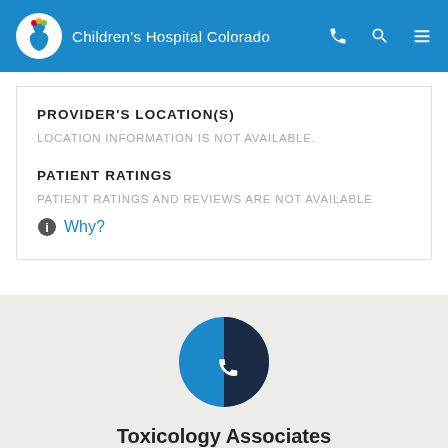Children's Hospital Colorado
PROVIDER'S LOCATION(S)
LOCATION INFORMATION IS NOT AVAILABLE.
PATIENT RATINGS
PATIENT RATINGS AND REVIEWS ARE NOT AVAILABLE
Why?
[Figure (illustration): Phone receiver icon inside a two-tone blue circle (light blue and dark navy blue)]
Toxicology Associates
(720)477-2500